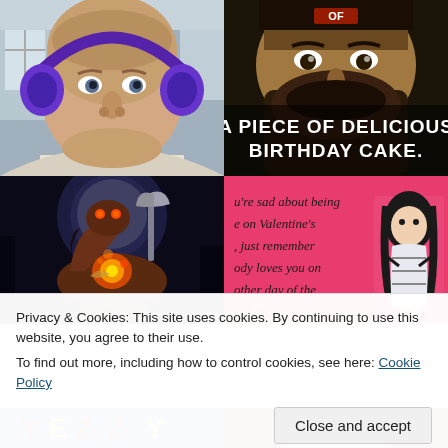[Figure (photo): Selfie of a bald man wearing purple headphones, looking straight at the camera, in what appears to be an office or room.]
[Figure (photo): Internet meme showing a bearded man's face close up with white bold text reading 'A PIECE OF DELICIOUS BIRTHDAY CAKE.']
[Figure (photo): Fantasy/video game artwork showing a dark horse warrior figure with glowing fire elements against a dark moonlit background.]
[Figure (photo): Pink Valentine's Day ecard meme with text: "u're sad about being e on Valentine's, just remember ody loves you on other day of the either" with a cartoon illustration of a tied-up girl.]
Privacy & Cookies: This site uses cookies. By continuing to use this website, you agree to their use.
To find out more, including how to control cookies, see here: Cookie Policy
Close and accept
[Figure (photo): Partial bottom strip showing blue/white logo text on the left and a person's face on the right.]